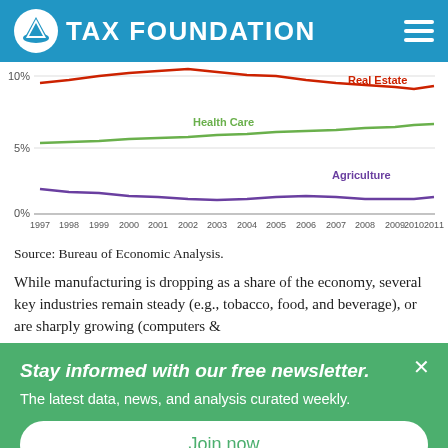TAX FOUNDATION
[Figure (line-chart): Industry shares of GDP, 1997-2011]
Source: Bureau of Economic Analysis.
While manufacturing is dropping as a share of the economy, several key industries remain steady (e.g., tobacco, food, and beverage), or are sharply growing (computers &
Stay informed with our free newsletter.
The latest data, news, and analysis curated weekly.
Join now